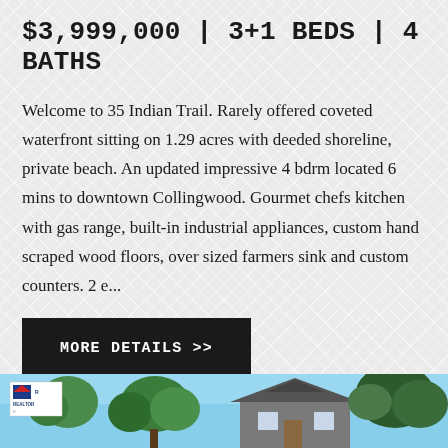$3,999,000 | 3+1 BEDS | 4 BATHS
Welcome to 35 Indian Trail. Rarely offered coveted waterfront sitting on 1.29 acres with deeded shoreline, private beach. An updated impressive 4 bdrm located 6 mins to downtown Collingwood. Gourmet chefs kitchen with gas range, built-in industrial appliances, custom hand scraped wood floors, over sized farmers sink and custom counters. 2 e...
MORE DETAILS >>
[Figure (photo): Exterior photo strip showing a house with trees and blue sky, with a REALTOR logo badge on the left]